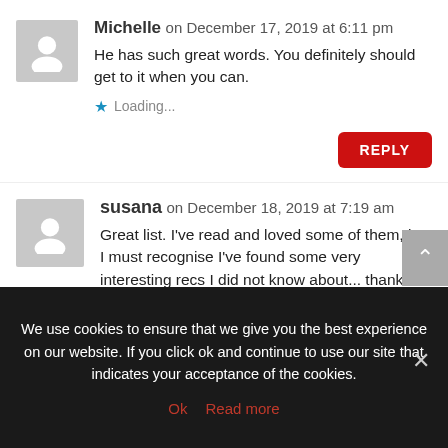Michelle on December 17, 2019 at 6:11 pm
He has such great words. You definitely should get to it when you can.
Loading...
REPLY
susana on December 18, 2019 at 7:19 am
Great list. I've read and loved some of them, but I must recognise I've found some very interesting recs I did not know about... thank you, Michelle!
Loading...
We use cookies to ensure that we give you the best experience on our website. If you click ok and continue to use our site that indicates your acceptance of the cookies.
Ok  Read more